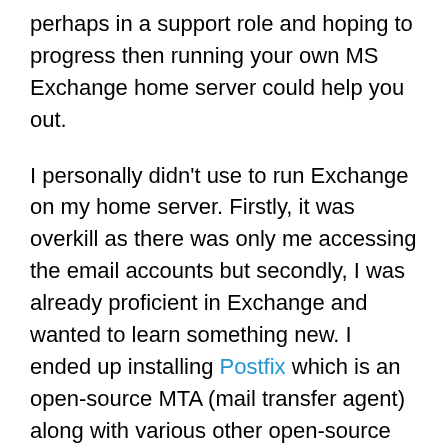perhaps in a support role and hoping to progress then running your own MS Exchange home server could help you out.
I personally didn't use to run Exchange on my home server. Firstly, it was overkill as there was only me accessing the email accounts but secondly, I was already proficient in Exchange and wanted to learn something new. I ended up installing Postfix which is an open-source MTA (mail transfer agent) along with various other open-source systems. I firmly believe that if you're going to have a home server then you should at least make it fun. For me, aside from my data hoarding, I enjoyed setting up and running an open-source Linux mail system.